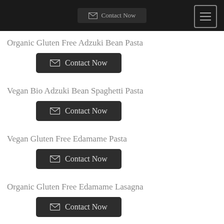Contact Now
Organic Gluten Free Adzuki Bean Pasta
Contact Now
Vegan Bio Adzuki Bean Spaghetti Pasta
Contact Now
Vegan Gluten Free Edamame Pasta
Contact Now
Organic Gluten Free Edamame Lasagna
Contact Now
Organic Gluten Free Edamame Pasta